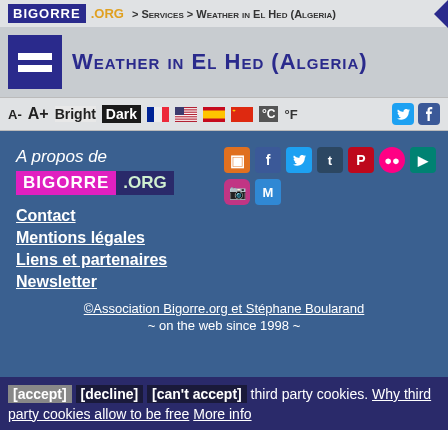BIGORRE .ORG > Services > Weather in El Hed (Algeria)
Weather in El Hed (Algeria)
A- A+ Bright Dark °C °F
A propos de BIGORRE .ORG
Contact
Mentions légales
Liens et partenaires
Newsletter
©Association Bigorre.org et Stéphane Boularand
~ on the web since 1998 ~
[accept] [decline] [can't accept] third party cookies. Why third party cookies allow to be free More info